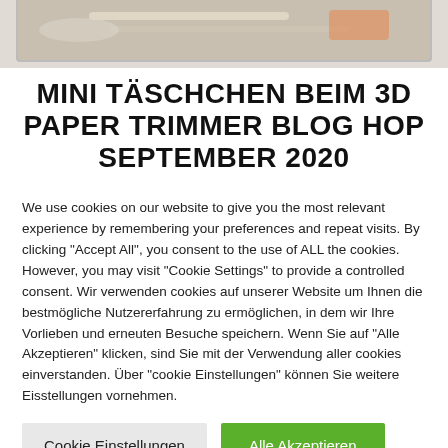[Figure (photo): Partial view of crafting tools on a wooden surface, partially cropped at top of page]
MINI TÄSCHCHEN BEIM 3D PAPER TRIMMER BLOG HOP SEPTEMBER 2020
Elisabeth / 27. September 2020
We use cookies on our website to give you the most relevant experience by remembering your preferences and repeat visits. By clicking "Accept All", you consent to the use of ALL the cookies. However, you may visit "Cookie Settings" to provide a controlled consent. Wir verwenden cookies auf unserer Website um Ihnen die bestmögliche Nutzererfahrung zu ermöglichen, in dem wir Ihre Vorlieben und erneuten Besuche speichern. Wenn Sie auf "Alle Akzeptieren" klicken, sind Sie mit der Verwendung aller cookies einverstanden. Über "cookie Einstellungen" können Sie weitere Eisstellungen vornehmen.
Cookie Einstellungen
Alle Akzeptieren